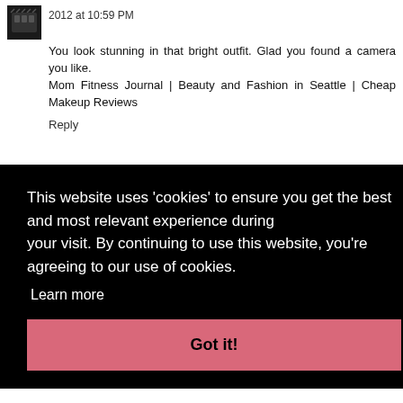2012 at 10:59 PM
You look stunning in that bright outfit. Glad you found a camera you like.
Mom Fitness Journal | Beauty and Fashion in Seattle | Cheap Makeup Reviews
Reply
This website uses ‘cookies’ to ensure you get the best and most relevant experience during your visit. By continuing to use this website, you’re agreeing to our use of cookies.
Learn more
Got it!
u got to
Reply